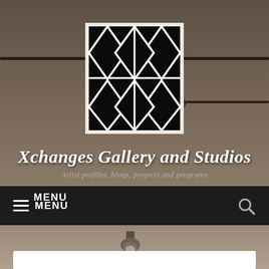[Figure (photo): Website header screenshot for Xchanges Gallery and Studios. Shows a sepia-toned ceiling with track lighting as background. A black and white geometric diamond lattice pattern logo is centered at the top. Below is the site title and subtitle. A dark navigation bar with MENU and search icon is shown below.]
Xchanges Gallery and Studios
Artist profiles, blogs, projects and programs
MENU